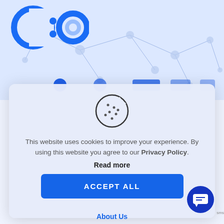[Figure (logo): C:O logo in blue color — two blue circular letter shapes forming CO with a colon between them]
[Figure (illustration): Network/connectivity background pattern with dots and lines on light blue background]
[Figure (illustration): Cookie consent modal dialog with cookie icon (circle with bite taken out and dots), message text, Read more link, and ACCEPT ALL button]
This website uses cookies to improve your experience. By using this website you agree to our Privacy Policy.
Read more
ACCEPT ALL
About Us